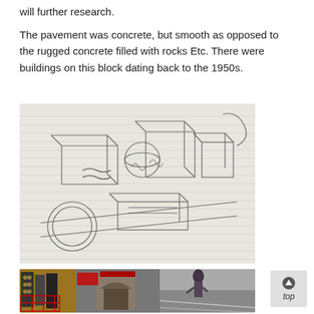will further research.
The pavement was concrete, but smooth as opposed to the rugged concrete filled with rocks Etc. There were buildings on this block dating back to the 1950s.
[Figure (illustration): A hand-drawn sketch on lined notebook paper showing a 3D perspective drawing of city block buildings and structures, including what appears to be storefronts and urban elements drawn in pencil.]
[Figure (photo): A photograph of a city street scene, appears rotated, showing buildings, billboards and a person on a sidewalk, resembling Times Square area.]
top